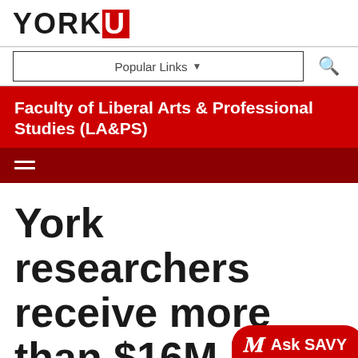YORK U
Popular Links ▼
Faculty of Liberal Arts & Professional Studies (LA&PS)
[Figure (screenshot): Dark red navigation bar with hamburger menu icon (two horizontal lines) in white]
York researchers receive more than $16M in SSHRC funding
[Figure (logo): Ask SAVY chatbot button - red pill-shaped button with cursive icon and text 'Ask SAVY']